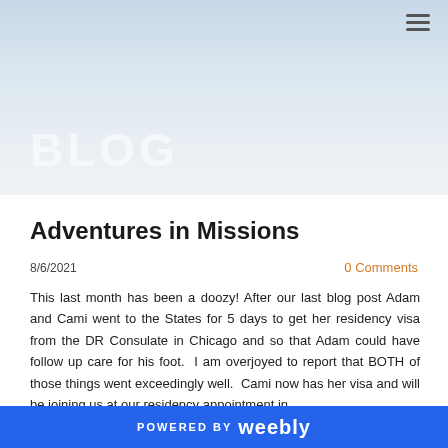[Figure (other): Hero banner with a light blue-grey gradient background and a hamburger menu icon in the top right corner. A large watermark-style 'BLOG' text appears at the bottom left of the banner in semi-transparent white letters.]
Adventures in Missions
8/6/2021   0 Comments
This last month has been a doozy! After our last blog post Adam and Cami went to the States for 5 days to get her residency visa from the DR Consulate in Chicago and so that Adam could have follow up care for his foot.  I am overjoyed to report that BOTH of those things went exceedingly well.  Cami now has her visa and will be joining us at our residency appointment in
POWERED BY weebly